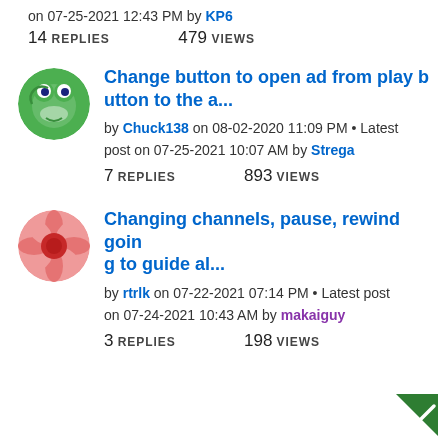on 07-25-2021 12:43 PM by KP6
14 REPLIES   479 VIEWS
[Figure (illustration): Green frog cartoon avatar]
Change button to open ad from play button to the a...
by Chuck138 on 08-02-2020 11:09 PM • Latest post on 07-25-2021 10:07 AM by Strega
7 REPLIES   893 VIEWS
[Figure (illustration): Red flower/fan cartoon avatar]
Changing channels, pause, rewind going to guide al...
by rtrlk on 07-22-2021 07:14 PM • Latest post on 07-24-2021 10:43 AM by makaiguy
3 REPLIES   198 VIEWS
[Figure (illustration): Green checkmark badge icon]